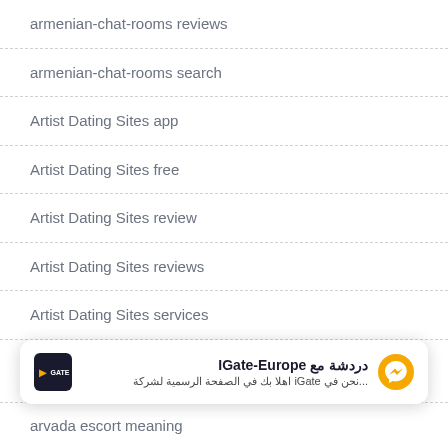armenian-chat-rooms reviews
armenian-chat-rooms search
Artist Dating Sites app
Artist Dating Sites free
Artist Dating Sites review
Artist Dating Sites reviews
Artist Dating Sites services
arvada eros escort
[Figure (screenshot): IGate-Europe chat popup with Arabic text: دردشة مع IGate-Europe and نحن في iGate اهلا بك في الصفحة الرسمية لشركة...]
arvada escort meaning